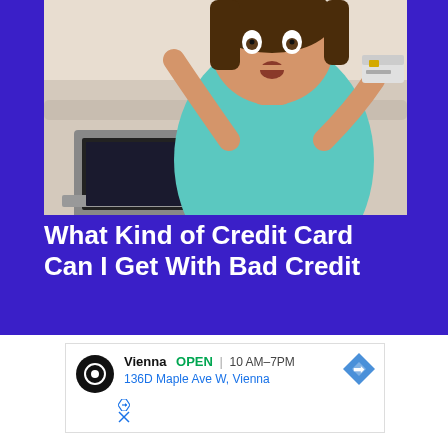[Figure (photo): Woman lying on a couch looking surprised, holding a credit card in one hand and gesturing with the other hand, with a laptop in front of her. She is wearing a teal/turquoise top. Background is light/white.]
What Kind of Credit Card Can I Get With Bad Credit
[Figure (other): Advertisement showing a business listing for 'Vienna' with OPEN status, hours 10 AM-7PM, address 136D Maple Ave W, Vienna, with a circular black logo and a blue diamond-shaped navigation arrow icon.]